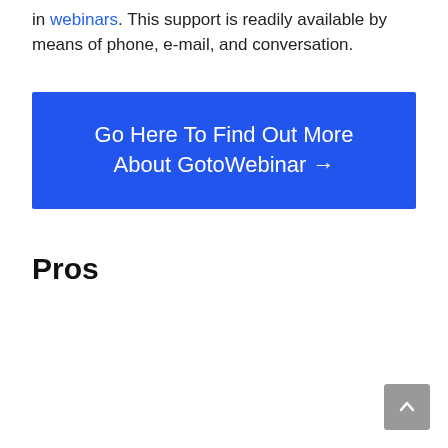in webinars. This support is readily available by means of phone, e-mail, and conversation.
[Figure (other): Blue call-to-action button with white text reading 'Go Here To Find Out More About GotoWebinar →']
Pros